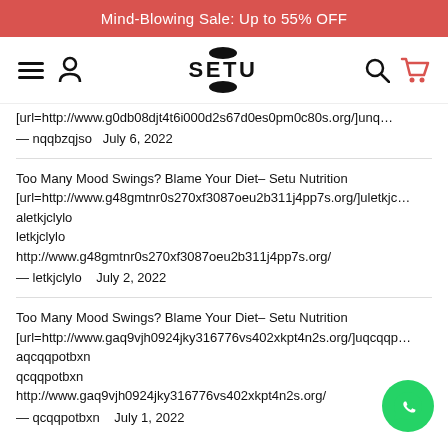Mind-Blowing Sale: Up to 55% OFF
[Figure (logo): SETU brand logo with hamburger menu, user icon, search icon, and cart icon in navigation bar]
[url=http://www.g0db08djt4t6i000d2s67d0es0pm0c80s.org/]unq… — nqqbzqjso   July 6, 2022
Too Many Mood Swings? Blame Your Diet– Setu Nutrition
[url=http://www.g48gmtnr0s270xf3087oeu2b311j4pp7s.org/]uletkjc…
aletkjclylo
letkjclylo
http://www.g48gmtnr0s270xf3087oeu2b311j4pp7s.org/
— letkjclylo   July 2, 2022
Too Many Mood Swings? Blame Your Diet– Setu Nutrition
[url=http://www.gaq9vjh0924jky316776vs402xkpt4n2s.org/]uqcqqp…
aqcqqpotbxn
qcqqpotbxn
http://www.gaq9vjh0924jky316776vs402xkpt4n2s.org/
— qcqqpotbxn   July 1, 2022